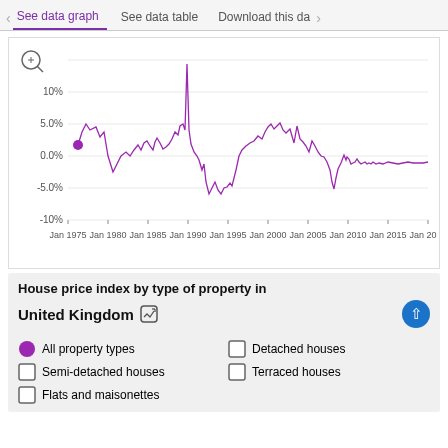See data graph | See data table | Download this data
[Figure (continuous-plot): Line chart of UK house price index (year-on-year % change) from Jan 1975 to Jan 2020. Values range from approximately -6% to +15%, with a sharp peak around 1988 at ~15%, a trough around 1992 at ~-6%, and generally lower volatility from 2000 onwards.]
House price index by type of property in
United Kingdom
All property types (selected)
Detached houses
Semi-detached houses
Terraced houses
Flats and maisonettes